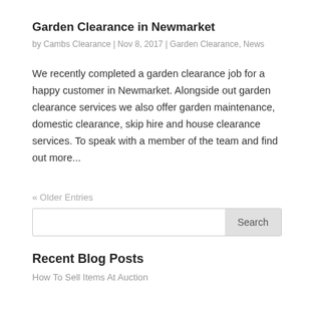Garden Clearance in Newmarket
by Cambs Clearance | Nov 8, 2017 | Garden Clearance, News
We recently completed a garden clearance job for a happy customer in Newmarket. Alongside out garden clearance services we also offer garden maintenance, domestic clearance, skip hire and house clearance services. To speak with a member of the team and find out more...
« Older Entries
Recent Blog Posts
How To Sell Items At Auction